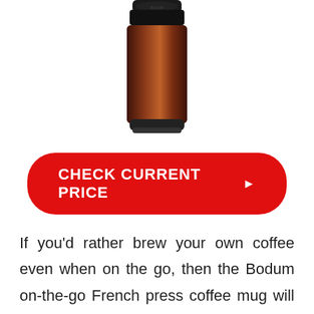[Figure (photo): Bodum on-the-go French press coffee mug, brown/copper colored travel mug with black lid, partially cropped at top of page]
CHECK CURRENT PRICE ▶
If you'd rather brew your own coffee even when on the go, then the Bodum on-the-go French press coffee mug will impress you. It's quite simple to use and you can